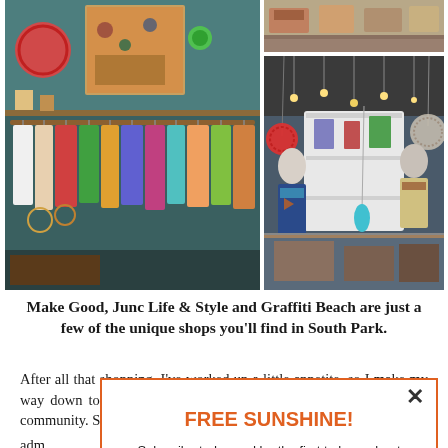[Figure (photo): Photo collage of boutique shops in South Park, San Diego: left shows a clothing rack with colorful garments and decorative items on walls; top-right shows shoes/accessories display; bottom-right shows mannequins with apparel and hanging decorative orbs in a retail interior.]
Make Good, Junc Life & Style and Graffiti Beach are just a few of the unique shops you'll find in South Park.
After all that shopping, I've worked up a little appetite, so I make my way down to Barrio Logan, an epicenter of San Diego's Hispanic community. Street tacos at La Fac[toria]... adm[ittedly]... the [...]... stru[...]
[Figure (other): Popup modal with orange border containing 'FREE SUNSHINE!' header in orange, a close (X) button, and text: 'Subscribe today and be the first to hear about upcoming events and special offers in San Diego.']